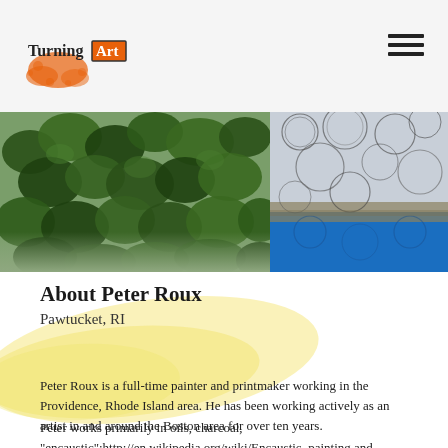[Figure (logo): TurningArt logo with orange splatter background and text 'Turning Art' in a box, plus hamburger menu icon]
[Figure (photo): Left image: dense green foliage/bushes painting. Right image: abstract art with pencil circles on grey/blue background.]
About Peter Roux
Pawtucket, RI
Peter Roux is a full-time painter and printmaker working in the Providence, Rhode Island area. He has been working actively as an artist in and around the Boston area for over ten years.
Peter works primarily in oils, charcoal, "encaustic":http://en.wikipedia.org/wiki/Encaustic_painting and "monotype":http://en.wikipedia.org/wiki/Monotype